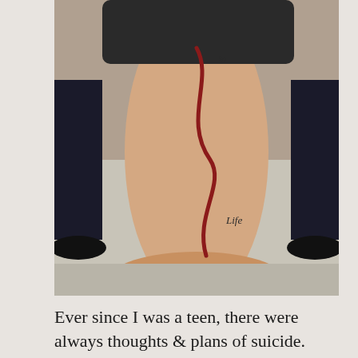[Figure (photo): A photograph of a person's lower leg and foot showing a tattoo. The tattoo appears to be a red curved line running down the leg with the word 'in' near the top and 'Life' near the bottom.]
Ever since I was a teen, there were always thoughts & plans of suicide. Cutting my arms up and down with knives and blades just to see
Privacy & Cookies: This site uses cookies. By continuing to use this website, you agree to their use.
To find out more, including how to control cookies, see here:
Cookie Policy
Close and accept
never missed a booking. I would drag myself